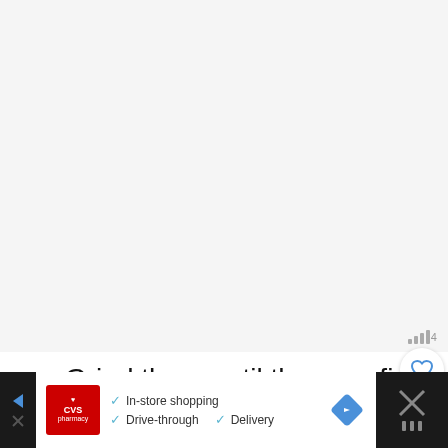[Figure (photo): Large light gray blank/empty area taking up most of the page — appears to be a placeholder for an image (possibly a food/recipe photo that did not load)]
Grind them until they are finely ground.
[Figure (infographic): CVS Pharmacy advertisement banner at the bottom showing: In-store shopping, Drive-through, Delivery with checkmarks, a CVS pharmacy logo, navigation arrow icon, and close button on dark background]